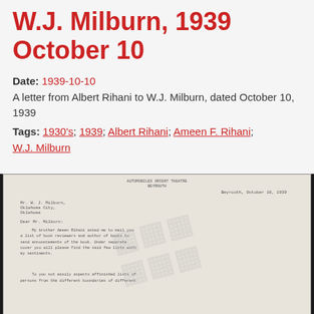W.J. Milburn, 1939 October 10
Date: 1939-10-10
A letter from Albert Rihani to W.J. Milburn, dated October 10, 1939
Tags: 1930's; 1939; Albert Rihani; Ameen F. Rihani; W.J. Milburn
[Figure (photo): Scanned letter on letterhead from Automobiles Orient Theatre Beyrouth, dated Beyrouth, October 10, 1939, addressed to Mr. W.J. Milburn, Oklahoma City, Oklahoma. The letter begins 'Dear Mr. Milburn:' and contains typed text about sending a list of book reviewers and authors of books to send announcements of the book. A watermark is visible over the letter.]